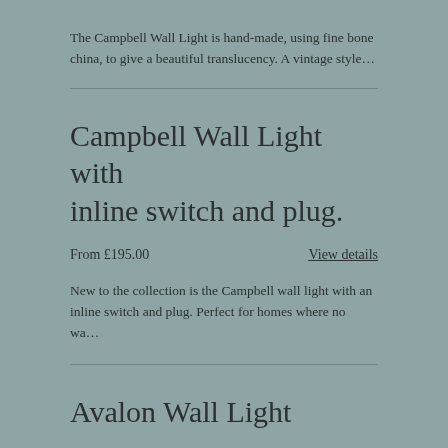The Campbell Wall Light is hand-made, using fine bone china, to give a beautiful translucency. A vintage style…
Campbell Wall Light with inline switch and plug.
From £195.00
View details
New to the collection is the Campbell wall light with an inline switch and plug. Perfect for homes where no wa…
Avalon Wall Light